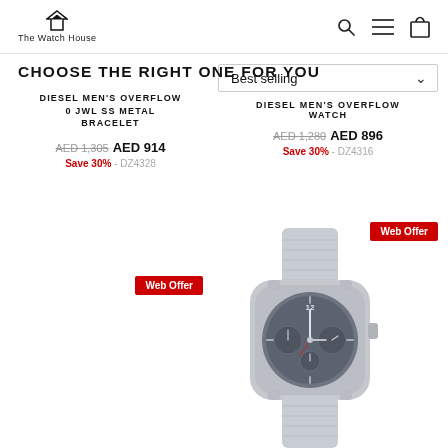The Watch House — navigation bar with logo, search, menu, and bag icons
CHOOSE THE RIGHT ONE FOR YOU
DIESEL MEN'S OVERFLOW
0 JWL SS METAL BRACELET
AED 1,305  AED 914
Save 30% - DZ4328
[Figure (screenshot): Sort dropdown showing 'Best selling' option with chevron]
DIESEL MEN'S OVERFLOW WATCH
AED 1,280  AED 896
Save 30% - DZ4316
[Figure (photo): Web Offer badge (red) left column]
[Figure (photo): Web Offer badge (red) right column and Diesel watch photo showing chronograph watch with grey fabric strap]